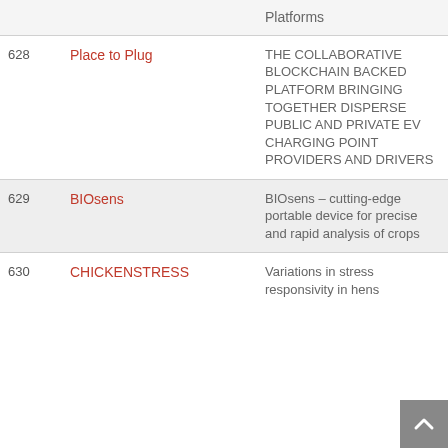|  |  | Platforms |
| --- | --- | --- |
| 628 | Place to Plug | THE COLLABORATIVE BLOCKCHAIN BACKED PLATFORM BRINGING TOGETHER DISPERSE PUBLIC AND PRIVATE EV CHARGING POINT PROVIDERS AND DRIVERS |
| 629 | BIOsens | BIOsens – cutting-edge portable device for precise and rapid analysis of crops |
| 630 | CHICKENSTRESS | Variations in stress responsivity in hens |